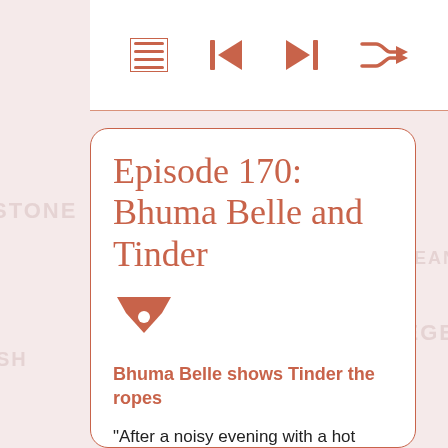[Figure (screenshot): Toolbar with playlist, skip back, skip forward, and shuffle icons in salmon/coral color on white background]
Episode 170: Bhuma Belle and Tinder
[Figure (logo): Tinder-like flame/logo icon in coral color]
Bhuma Belle shows Tinder the ropes
“After a noisy evening with a hot date, Bhuma Belle kindles roomie Tinder’s interest exactly what the commotion was all about. After learning a few fancy knots, Tinder discovers a few surprises